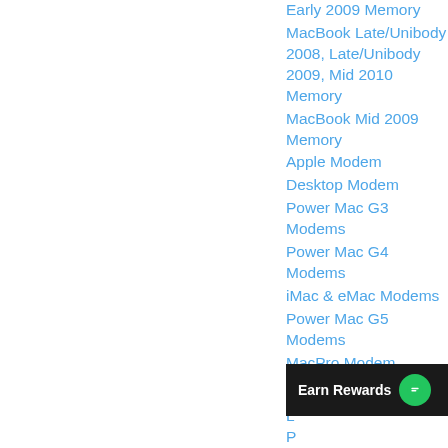Early 2009 Memory
MacBook Late/Unibody 2008, Late/Unibody 2009, Mid 2010 Memory
MacBook Mid 2009 Memory
Apple Modem
Desktop Modem
Power Mac G3 Modems
Power Mac G4 Modems
iMac & eMac Modems
Power Mac G5 Modems
MacPro Modem
L...
P...
Earn Rewards